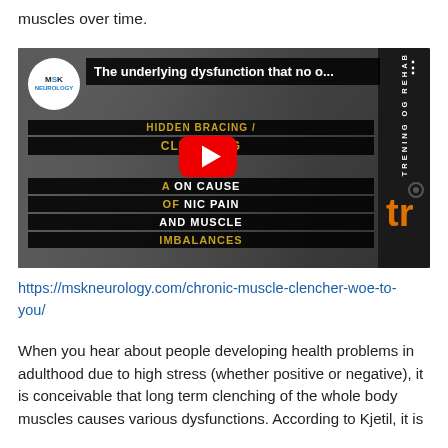muscles over time.
[Figure (screenshot): YouTube video thumbnail showing a muscular man clenching fists in a gym/clinic setting, with overlaid text 'HIDDEN BRACING / CLENCHING - A COMMON CAUSE OF CHRONIC PAIN AND MUSCLE IMBALANCES' and MSK Neurology logo. Title bar reads 'The underlying dysfunction that no o...' with TRENING OG REHAB logo on right sidebar.]
https://mskneurology.com/chronic-muscle-clencher-woe-to-you/
When you hear about people developing health problems in adulthood due to high stress (whether positive or negative), it is conceivable that long term clenching of the whole body muscles causes various dysfunctions. According to Kjetil, it is